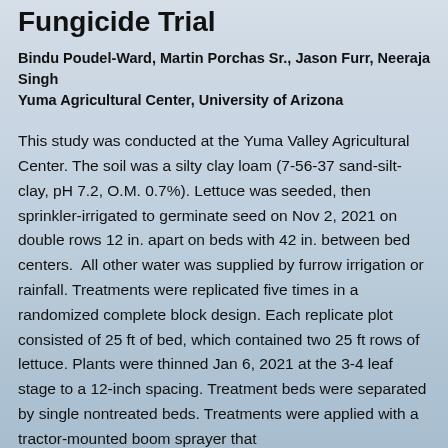Fungicide Trial
Bindu Poudel-Ward, Martin Porchas Sr., Jason Furr, Neeraja Singh
Yuma Agricultural Center, University of Arizona
This study was conducted at the Yuma Valley Agricultural Center. The soil was a silty clay loam (7-56-37 sand-silt-clay, pH 7.2, O.M. 0.7%). Lettuce was seeded, then sprinkler-irrigated to germinate seed on Nov 2, 2021 on double rows 12 in. apart on beds with 42 in. between bed centers.  All other water was supplied by furrow irrigation or rainfall. Treatments were replicated five times in a randomized complete block design. Each replicate plot consisted of 25 ft of bed, which contained two 25 ft rows of lettuce. Plants were thinned Jan 6, 2021 at the 3-4 leaf stage to a 12-inch spacing. Treatment beds were separated by single nontreated beds. Treatments were applied with a tractor-mounted boom sprayer that